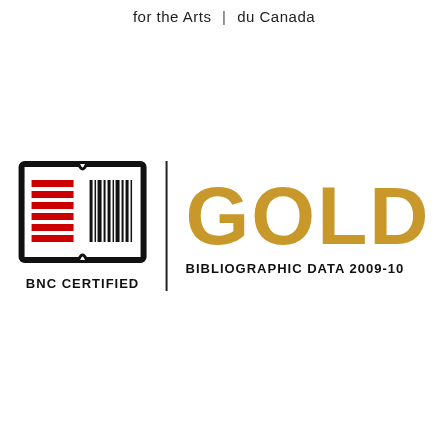for the Arts | du Canada
[Figure (logo): BNC Certified Gold Bibliographic Data 2009-10 logo. Left side: book icon with red horizontal lines and black barcode, labeled BNC CERTIFIED. A vertical dividing line separates it from the right side which shows the word GOLD in large gold/amber text, with BIBLIOGRAPHIC DATA 2009-10 below in black.]